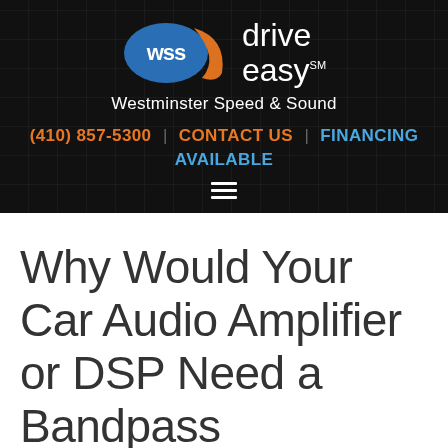[Figure (logo): WSS Drive Easy logo with blue oval WSS badge and orange swoosh, next to 'drive easy' text in white with SM superscript]
Westminster Speed & Sound
(410) 857-5300 | CONTACT US | FINANCING AVAILABLE
Why Would Your Car Audio Amplifier or DSP Need a Bandpass Crossover?